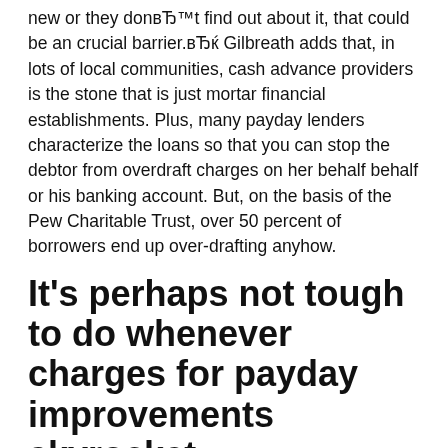new or they don't find out about it, that could be an crucial barrier. Gilbreath adds that, in lots of local communities, cash advance providers is the stone that is just mortar financial establishments. Plus, many payday lenders characterize the loans so that you can stop the debtor from overdraft charges on her behalf behalf or his banking account. But, on the basis of the Pew Charitable Trust, over 50 percent of borrowers end up over-drafting anyhow.
It's perhaps not tough to do whenever charges for payday improvements skyrocket.
The interest levels payday lenders may charge at 15 per cent associated with the loan's face value which may be equated to 459 % APR in Hawaii, regulations caps. As an example, whenever Souza-Kaawa took away a $400 loan